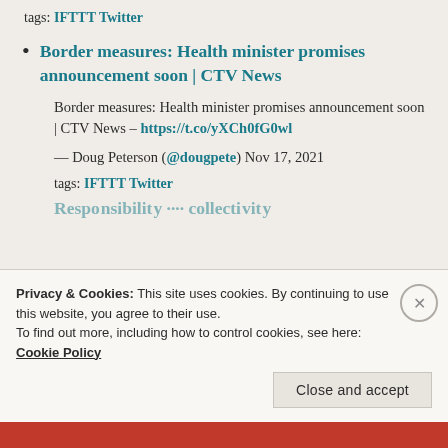tags: IFTTT Twitter
Border measures: Health minister promises announcement soon | CTV News
Border measures: Health minister promises announcement soon | CTV News – https://t.co/yXCh0fG0wl
— Doug Peterson (@dougpete) Nov 17, 2021
tags: IFTTT Twitter
Privacy & Cookies: This site uses cookies. By continuing to use this website, you agree to their use.
To find out more, including how to control cookies, see here: Cookie Policy
Close and accept